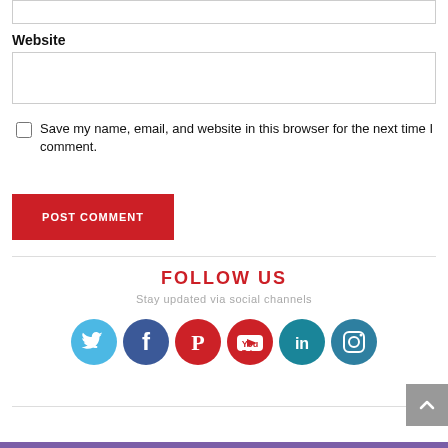Website
Save my name, email, and website in this browser for the next time I comment.
POST COMMENT
FOLLOW US
Stay updated via social channels
[Figure (infographic): Social media icons: Twitter, Facebook, Pinterest, YouTube, LinkedIn, Instagram]